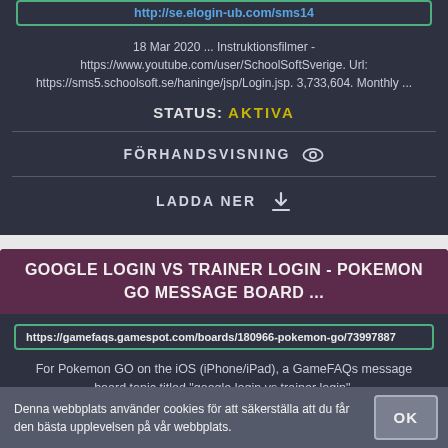http://se.elogin-ub.com/sms14
18 Mar 2020 ... Instruktionsfilmer - https://www.youtube.com/user/SchoolSoftSverige. Url: https://sms5.schoolsoft.se/haninge/jsp/Login.jsp. 3,733,604. Monthly ...
STATUS: AKTIVA
FÖRHANDSVISNING
LADDA NER
GOOGLE LOGIN VS TRAINER LOGIN - POKEMON GO MESSAGE BOARD ...
https://gamefaqs.gamespot.com/boards/180966-pokemon-go/73997887
For Pokemon GO on the iOS (iPhone/iPad), a GameFAQs message board topic titled "google login vs trainer login".
Denna webbplats använder cookies för att säkerställa att du får den bästa upplevelsen på vår webbplats.